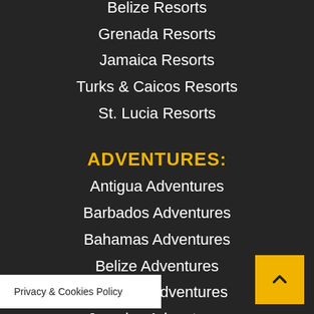Belize Resorts
Grenada Resorts
Jamaica Resorts
Turks & Caicos Resorts
St. Lucia Resorts
ADVENTURES:
Antigua Adventures
Barbados Adventures
Bahamas Adventures
Belize Adventures
Grenada Adventures
Jamaica Adventures
Turks & Caicos Adventures
St. Lucia Adventures
…ntures
Privacy & Cookies Policy